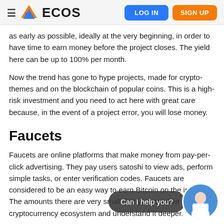ECOS | LOG IN | SIGN UP
as early as possible, ideally at the very beginning, in order to have time to earn money before the project closes. The yield here can be up to 100% per month.
Now the trend has gone to hype projects, made for crypto-themes and on the blockchain of popular coins. This is a high-risk investment and you need to act here with great care because, in the event of a project error, you will lose money.
Faucets
Faucets are online platforms that make money from pay-per-click advertising. They pay users satoshi to view ads, perform simple tasks, or enter verification codes. Faucets are considered to be an easy way to earn Bitcoin on the internet. The amounts there are very small, but you can dive into the cryptocurrency ecosystem and understand it deeper.
Here are some faucets from the time of publication. Of course, this kind of earnings will not make you a Bitcoin millionaire.